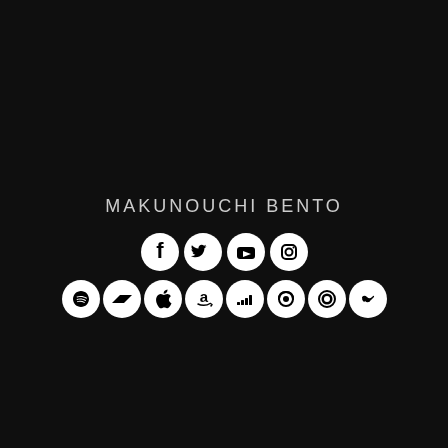MAKUNOUCHI BENTO
[Figure (infographic): Row of four social media icons (Facebook, Twitter, YouTube, Instagram) as white circles with black logos on dark background]
[Figure (infographic): Row of eight music/streaming platform icons (Spotify, Bandcamp, Apple, Amazon, Deezer, Audiomack, Napster, Tidal) as white circles with black logos on dark background]